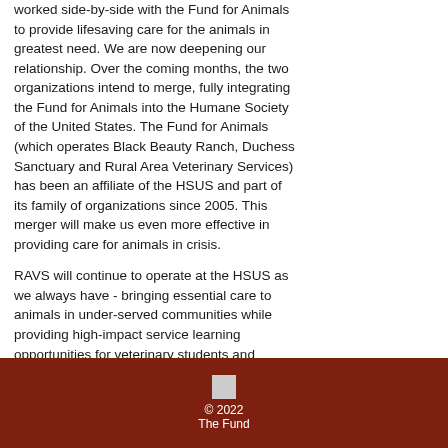worked side-by-side with the Fund for Animals to provide lifesaving care for the animals in greatest need. We are now deepening our relationship. Over the coming months, the two organizations intend to merge, fully integrating the Fund for Animals into the Humane Society of the United States. The Fund for Animals (which operates Black Beauty Ranch, Duchess Sanctuary and Rural Area Veterinary Services) has been an affiliate of the HSUS and part of its family of organizations since 2005. This merger will make us even more effective in providing care for animals in crisis.
RAVS will continue to operate at the HSUS as we always have - bringing essential care to animals in under-served communities while providing high-impact service learning opportunities for veterinary students and professionals - and your support will continue to be essential.
More information on merger
© 2022 The Fund